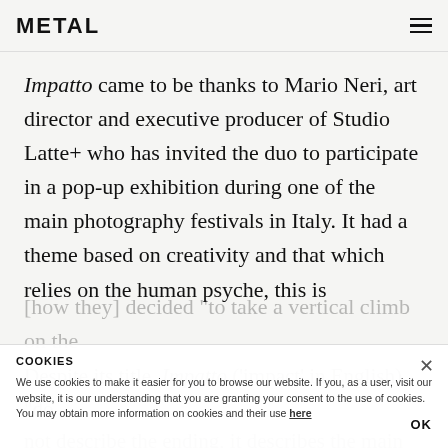METAL
Impatto came to be thanks to Mario Neri, art director and executive producer of Studio Latte+ who has invited the duo to participate in a pop-up exhibition during one of the main photography festivals in Italy. It had a theme based on creativity and that which relies on the human psyche, this is [how they] decided "to take a vertical climb on the
COOKIES
We use cookies to make it easier for you to browse our website. If you, as a user, visit our website, it is our understanding that you are granting your consent to the use of cookies. You may obtain more information on cookies and their use here
Despite its title, Impatto ('impact' in English) "do not describe the ending, it describes the main plot